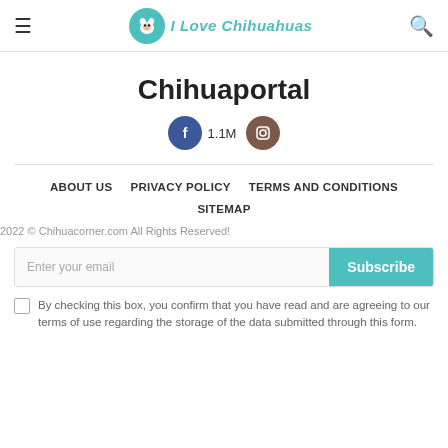I Love Chihuahuas
Chihuaportal
[Figure (logo): Facebook icon circle button with 1.1M count and Instagram icon circle button]
ABOUT US
PRIVACY POLICY
TERMS AND CONDITIONS
SITEMAP
2022 © Chihuacorner.com All Rights Reserved!
Enter your email   Subscribe
By checking this box, you confirm that you have read and are agreeing to our terms of use regarding the storage of the data submitted through this form.